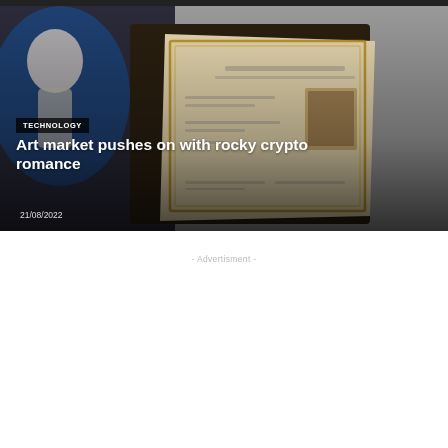[Figure (photo): A decorative book or certificate with ornate border design and a small portrait image inset, photographed alongside a blue-lit sculptural bust figure.]
TECHNOLOGY
Art market pushes on with rocky crypto romance
21/08/2022
- Advertisment -